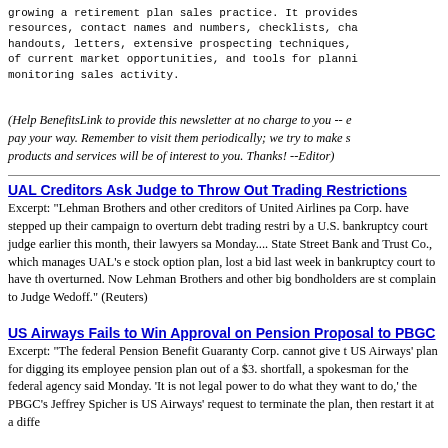growing a retirement plan sales practice. It provides resources, contact names and numbers, checklists, cha handouts, letters, extensive prospecting techniques, of current market opportunities, and tools for planni monitoring sales activity.
(Help BenefitsLink to provide this newsletter at no charge to you -- e pay your way. Remember to visit them periodically; we try to make s products and services will be of interest to you. Thanks! --Editor)
UAL Creditors Ask Judge to Throw Out Trading Restrictions
Excerpt: "Lehman Brothers and other creditors of United Airlines pa Corp. have stepped up their campaign to overturn debt trading restri by a U.S. bankruptcy court judge earlier this month, their lawyers sa Monday.... State Street Bank and Trust Co., which manages UAL's e stock option plan, lost a bid last week in bankruptcy court to have th overturned. Now Lehman Brothers and other big bondholders are st complain to Judge Wedoff." (Reuters)
US Airways Fails to Win Approval on Pension Proposal to PBGC
Excerpt: "The federal Pension Benefit Guaranty Corp. cannot give t US Airways' plan for digging its employee pension plan out of a $3. shortfall, a spokesman for the federal agency said Monday. 'It is not legal power to do what they want to do,' the PBGC's Jeffrey Spicher is US Airways' request to terminate the plan, then restart it at a diffe